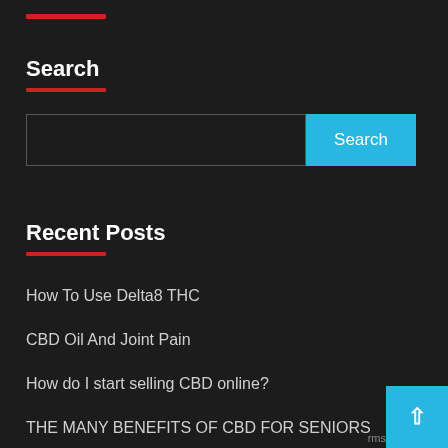Search
Search
Recent Posts
How To Use Delta8 THC
CBD Oil And Joint Pain
How do I start selling CBD online?
THE MANY BENEFITS OF CBD FOR SENIORS
What Is Delta 8 THC?